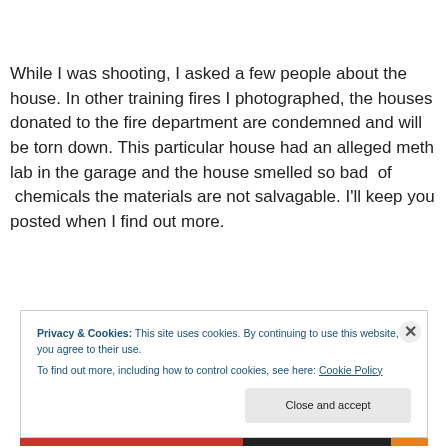While I was shooting, I asked a few people about the house. In other training fires I photographed, the houses donated to the fire department are condemned and will be torn down. This particular house had an alleged meth lab in the garage and the house smelled so bad of chemicals the materials are not salvagable. I'll keep you posted when I find out more.
Privacy & Cookies: This site uses cookies. By continuing to use this website, you agree to their use. To find out more, including how to control cookies, see here: Cookie Policy